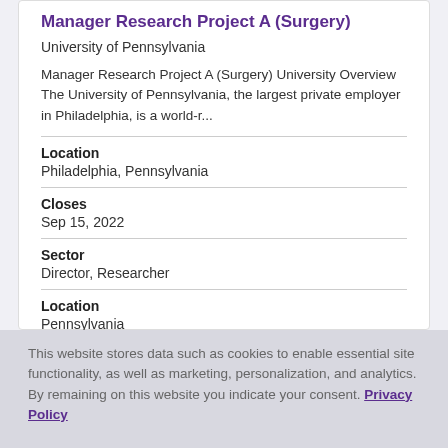Manager Research Project A (Surgery)
University of Pennsylvania
Manager Research Project A (Surgery) University Overview The University of Pennsylvania, the largest private employer in Philadelphia, is a world-r...
Location
Philadelphia, Pennsylvania
Closes
Sep 15, 2022
Sector
Director, Researcher
Location
Pennsylvania
This website stores data such as cookies to enable essential site functionality, as well as marketing, personalization, and analytics. By remaining on this website you indicate your consent. Privacy Policy